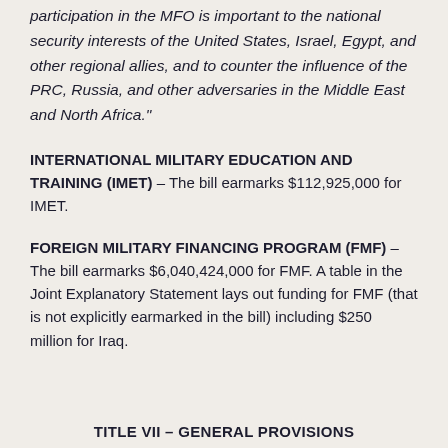participation in the MFO is important to the national security interests of the United States, Israel, Egypt, and other regional allies, and to counter the influence of the PRC, Russia, and other adversaries in the Middle East and North Africa."
INTERNATIONAL MILITARY EDUCATION AND TRAINING (IMET) – The bill earmarks $112,925,000 for IMET.
FOREIGN MILITARY FINANCING PROGRAM (FMF) – The bill earmarks $6,040,424,000 for FMF. A table in the Joint Explanatory Statement lays out funding for FMF (that is not explicitly earmarked in the bill) including $250 million for Iraq.
TITLE VII – GENERAL PROVISIONS